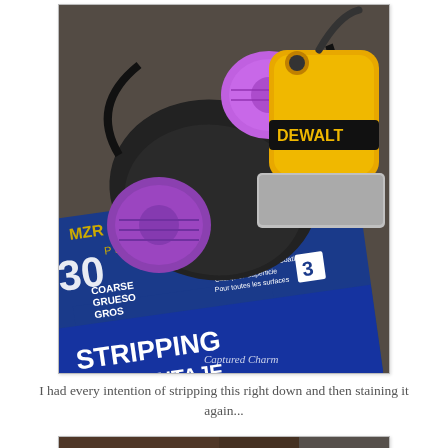[Figure (photo): A purple respirator/gas mask, a yellow DeWalt orbital sander, and a blue sandpaper package labeled 'STRIPPING / DESMONTAJE / DÉPOUILLEME...' with text 'COARSE GRUESO GROS', '30', 'PREMIUM', 'For all Surfaces and Coatings / Cualquier Superficie / Pour toutes les surfaces', and a watermark 'Captured Charm' on a dark wooden surface.]
I had every intention of stripping this right down and then staining it again...
[Figure (photo): Close-up of a dark wood surface, partially visible, showing wood grain in a dark brown/walnut tone on a workbench or table.]